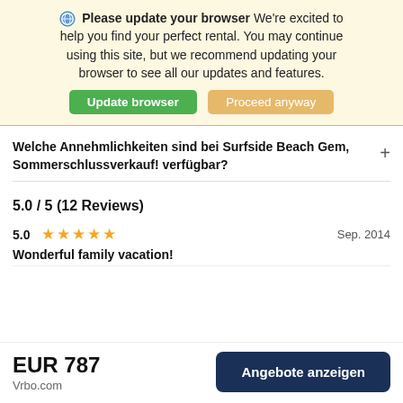Please update your browser We're excited to help you find your perfect rental. You may continue using this site, but we recommend updating your browser to see all our updates and features.
Update browser | Proceed anyway
Welche Annehmlichkeiten sind bei Surfside Beach Gem, Sommerschlussverkauf! verfügbar?
5.0 / 5 (12 Reviews)
5.0  ★★★★★  Sep. 2014
Wonderful family vacation!
EUR 787
Vrbo.com
Angebote anzeigen